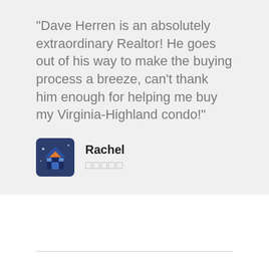“Dave Herren is an absolutely extraordinary Realtor! He goes out of his way to make the buying process a breeze, can’t thank him enough for helping me buy my Virginia-Highland condo!”
[Figure (illustration): Avatar icon of a cartoon house in blue and orange colors]
Rachel
★★★★★
“Dave is top notch and I can’t recommend him